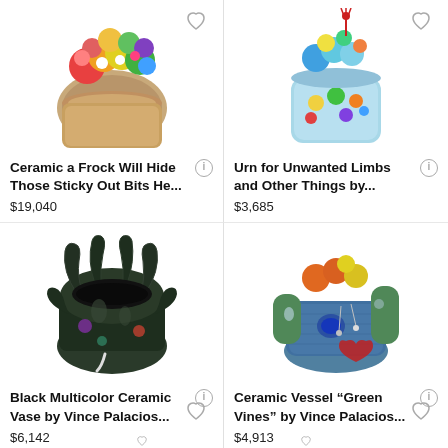[Figure (photo): Ceramic sculpture - colorful textured ceramic with multicolor flower-like decorations on top, partial view]
Ceramic a Frock Will Hide Those Sticky Out Bits He...
$19,040
[Figure (photo): Ceramic urn with light blue base, colorful decorations and red tassel on top, partial view]
Urn for Unwanted Limbs and Other Things by...
$3,685
[Figure (photo): Black multicolor ceramic vase with textured tentacle-like protrusions, dark green and brown tones with colorful accents]
Black Multicolor Ceramic Vase by Vince Palacios...
$6,142
[Figure (photo): Ceramic vessel with green, blue teal base, colorful orange, yellow, red and green decorative elements resembling cactus with hanging ornaments]
Ceramic Vessel “Green Vines” by Vince Palacios...
$4,913